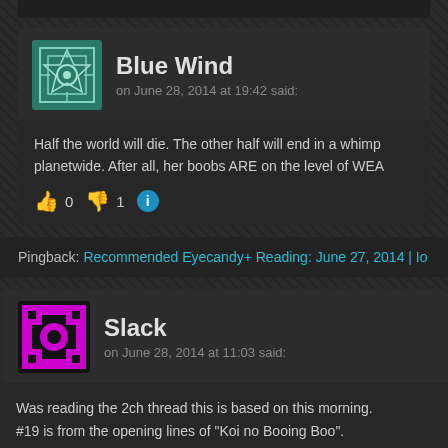[Figure (screenshot): Comment thread screenshot showing two comments and a pingback on a dark-themed website]
Blue Wind
on June 28, 2014 at 19:42 said:
Half the world will die. The other half will end in a whimp planetwide. After all, her boobs ARE on the level of WEA
👍 0 👎 1 🔵
Pingback: Recommended Eyecandy+ Reading: June 27, 2014 | Io
Slack
on June 28, 2014 at 11:03 said:
Was reading the 2ch thread this is based on this morning. #19 is from the opening lines of "Koi no Booing Boo".